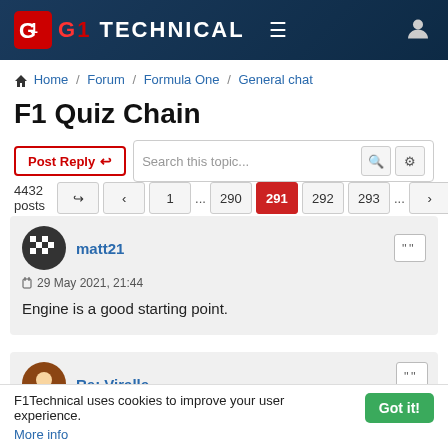F1Technical — navigation header with logo, menu and user icon
Home / Forum / Formula One / General chat
F1 Quiz Chain
Post Reply  Search this topic...  4432 posts  1 ... 290 291 292 293 ...
matt21
29 May 2021, 21:44
Engine is a good starting point.
F1Technical uses cookies to improve your user experience. Got it! More info